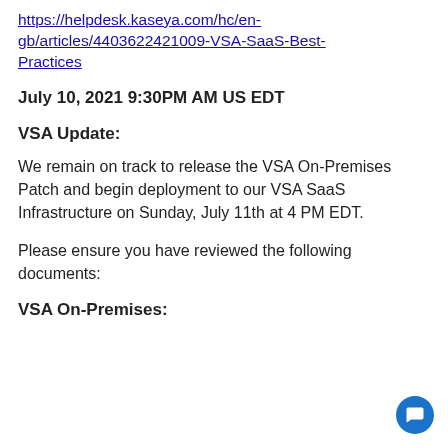https://helpdesk.kaseya.com/hc/en-gb/articles/4403622421009-VSA-SaaS-Best-Practices
July 10, 2021 9:30PM AM US EDT
VSA Update:
We remain on track to release the VSA On-Premises Patch and begin deployment to our VSA SaaS Infrastructure on Sunday, July 11th at 4 PM EDT.
Please ensure you have reviewed the following documents:
VSA On-Premises: